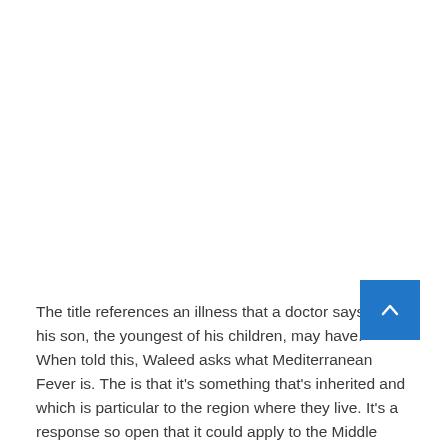The title references an illness that a doctor says that his son, the youngest of his children, may have. When told this, Waleed asks what Mediterranean Fever is. The [answer] is that it's something that's inherited and which is particular to the region where they live. It's a response so open that it could apply to the Middle East itself. The